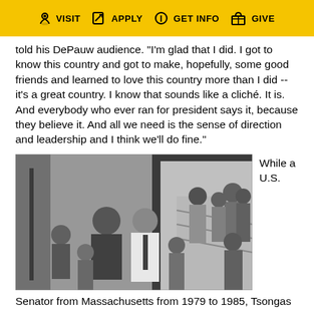VISIT  APPLY  GET INFO  GIVE
told his DePauw audience. "I'm glad that I did. I got to know this country and got to make, hopefully, some good friends and learned to love this country more than I did -- it's a great country. I know that sounds like a cliché. It is. And everybody who ever ran for president says it, because they believe it. And all we need is the sense of direction and leadership and I think we'll do fine."
[Figure (photo): Black and white photograph of a group of people in a hallway or foyer. A man in a white shirt and tie stands centrally among the group.]
While a U.S.
Senator from Massachusetts from 1979 to 1985, Tsongas